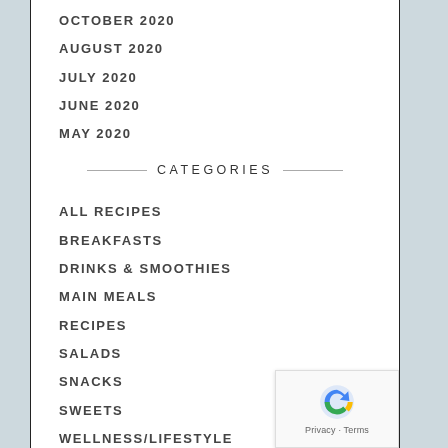OCTOBER 2020
AUGUST 2020
JULY 2020
JUNE 2020
MAY 2020
CATEGORIES
ALL RECIPES
BREAKFASTS
DRINKS & SMOOTHIES
MAIN MEALS
RECIPES
SALADS
SNACKS
SWEETS
WELLNESS/LIFESTYLE